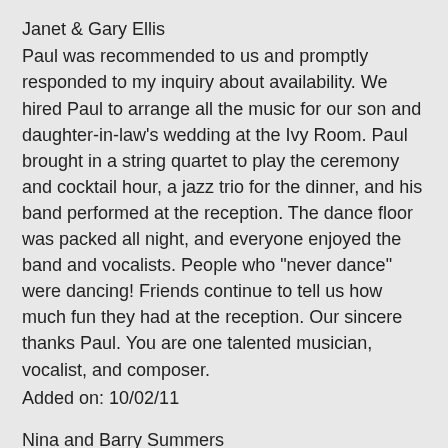Janet & Gary Ellis
Paul was recommended to us and promptly responded to my inquiry about availability. We hired Paul to arrange all the music for our son and daughter-in-law's wedding at the Ivy Room. Paul brought in a string quartet to play the ceremony and cocktail hour, a jazz trio for the dinner, and his band performed at the reception. The dance floor was packed all night, and everyone enjoyed the band and vocalists. People who "never dance" were dancing! Friends continue to tell us how much fun they had at the reception. Our sincere thanks Paul. You are one talented musician, vocalist, and composer.
Added on: 10/02/11
Nina and Barry Summers
Paul was the best highlight at the wedding.... very accomodating.... we would exchange emails about what kind of songs I like and don't like..... and sure enough, he played the song that me and my husband truly loved while we were being introduced... (lovely day by Bill Withers). HE LISTENS TO WHAT YOU WANT or what you want the playlist to be..... His voice sounds identical to the singer